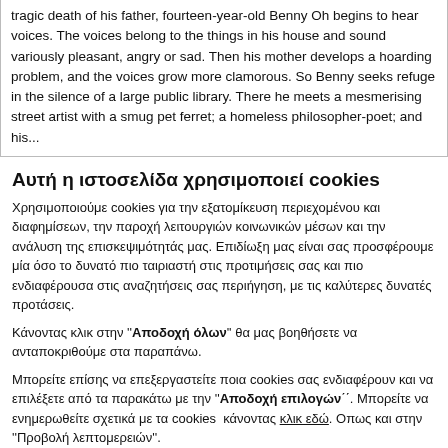tragic death of his father, fourteen-year-old Benny Oh begins to hear voices. The voices belong to the things in his house and sound variously pleasant, angry or sad. Then his mother develops a hoarding problem, and the voices grow more clamorous. So Benny seeks refuge in the silence of a large public library. There he meets a mesmerising street artist with a smug pet ferret; a homeless philosopher-poet; and his...
Αυτή η ιστοσελίδα χρησιμοποιεί cookies
Χρησιμοποιούμε cookies για την εξατομίκευση περιεχομένου και διαφημίσεων, την παροχή λειτουργιών κοινωνικών μέσων και την ανάλυση της επισκεψιμότητάς μας. Επιδίωξη μας είναι σας προσφέρουμε μία όσο το δυνατό πιο ταιριαστή στις προτιμήσεις σας και πιο ενδιαφέρουσα στις αναζητήσεις σας περιήγηση, με τις καλύτερες δυνατές προτάσεις.
Κάνοντας κλικ στην ''Αποδοχή όλων'' θα μας βοηθήσετε να ανταποκριθούμε στα παραπάνω.
Μπορείτε επίσης να επεξεργαστείτε ποια cookies σας ενδιαφέρουν και να επιλέξετε από τα παρακάτω με την ''Αποδοχή επιλογών΄΄. Μπορείτε να ενημερωθείτε σχετικά με τα cookies  κάνοντας κλικ εδώ. Οπως και στην ''Προβολή λεπτομερειών''.
Αποδοχή Επιλεγμένων | Αποδοχή Όλων
Αναγκαία  Προτιμήσεις  Στατιστικά  Εμπορικής προώθησης | Προβολή λεπτομερειών